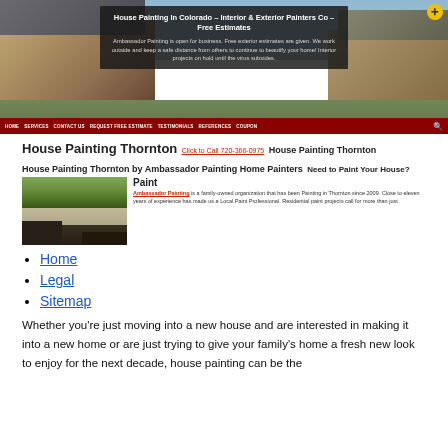[Figure (screenshot): Website screenshot showing a house painting company hero banner with a large house photo, dark overlay with title text, and navigation bar]
House Painting Thornton
Click to Call 720-366-0975
House Painting Thornton
House Painting Thornton by Ambassador Painting Home Painters
Need to Paint Your House?
[Figure (photo): Photo of a residential house with attached garage surrounded by trees]
Paint
Ambassador Painting is a family-owned organization that has been Painting in Thornton since 2009. Close to eleven years of experience has made us a Local Paint Professional. Residential paint projects call for more than just
Home
Legal
Sitemap
Whether you’re just moving into a new house and are interested in making it into a new home or are just trying to give your family’s home a fresh new look to enjoy for the next decade, house painting can be the